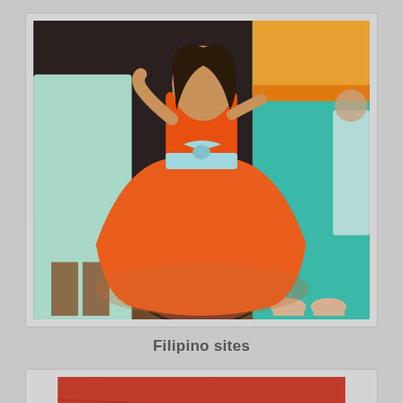[Figure (photo): A young girl in an orange ball gown dress with a light blue sash dances between women in teal and light blue dresses at what appears to be a formal event or wedding reception, on a decorative carpet floor.]
Filipino sites
[Figure (photo): A reddish-brown surface (possibly a wall or floor) with what appears to be colorful ribbons or decorative elements in yellow and blue at the bottom center of the frame.]